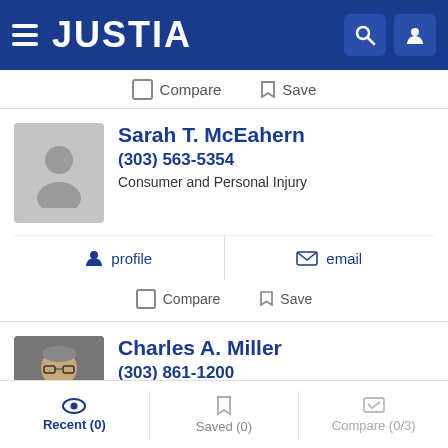JUSTIA
Compare   Save
Sarah T. McEahern
(303) 563-5354
Consumer and Personal Injury
profile   email
Compare   Save
Charles A. Miller
(303) 861-1200
Consumer, Elder, Estate Planning and International
Recent (0)   Saved (0)   Compare (0/3)